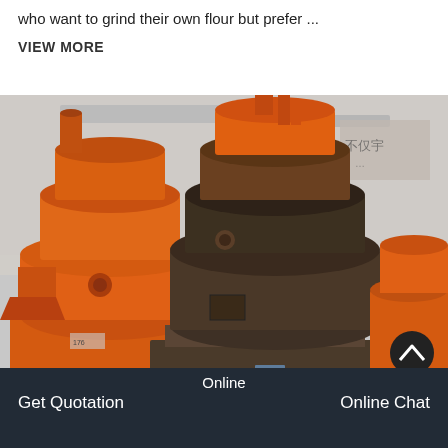who want to grind their own flour but prefer ...
VIEW MORE
[Figure (photo): Industrial grinding mill machines in a factory setting. Large orange and dark grey/black cylindrical Raymond mill or cone crusher machines are displayed in a warehouse with brick walls and Chinese characters visible on a sign in the background.]
Online  Get Quotation  Online Chat